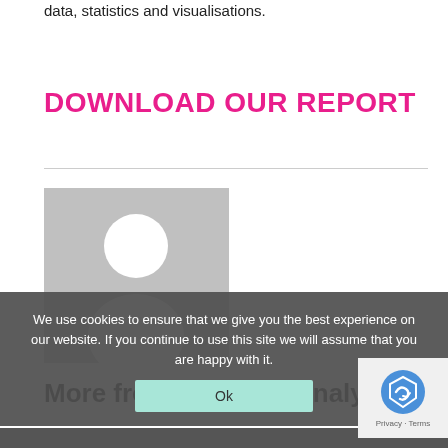data, statistics and visualisations.
DOWNLOAD OUR REPORT
[Figure (illustration): Grey placeholder avatar/profile image with white silhouette of a person]
We use cookies to ensure that we give you the best experience on our website. If you continue to use this site we will assume that you are happy with it.
Ok
More from the same analyst
[Figure (logo): reCAPTCHA logo with Privacy and Terms text]